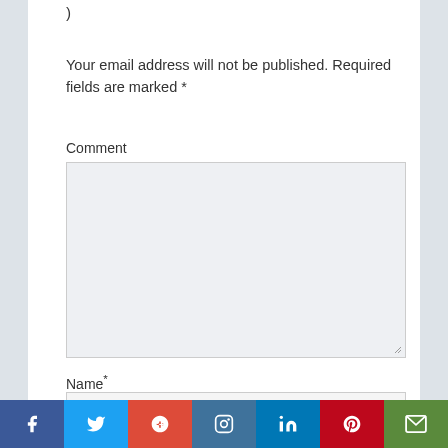)
Your email address will not be published. Required fields are marked *
Comment
Name*
[Figure (infographic): Social media share bar with icons for Facebook, Twitter, Google+, Instagram, LinkedIn, Pinterest, and Email]